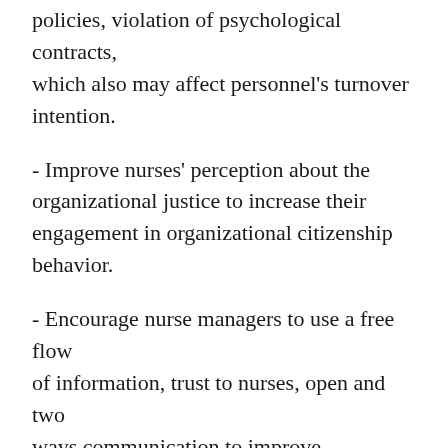policies, violation of psychological contracts, which also may affect personnel's turnover intention.
- Improve nurses' perception about the organizational justice to increase their engagement in organizational citizenship behavior.
- Encourage nurse managers to use a free flow of information, trust to nurses, open and two ways communication to improve interactional justice.
- Develop fair and consistent procedures regarding nursing personnel, performance assessment, and distribution of outcomes